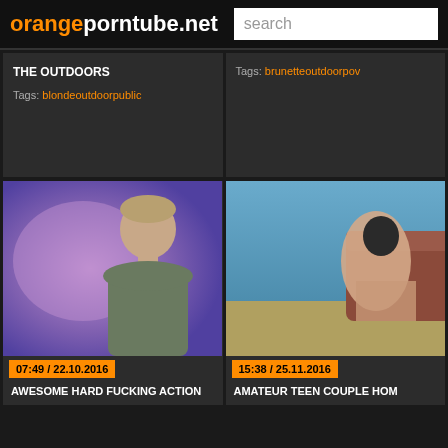orangeporntube.net  search
THE OUTDOORS
Tags: blondeoutdoorpublic
Tags: brunetteoutdoorpov
[Figure (photo): Man in grey shirt against purple/pink blurred background, timestamp 07:49 / 22.10.2016]
[Figure (photo): Adult content thumbnail, timestamp 15:38 / 25.11.2016]
AWESOME HARD FUCKING ACTION
AMATEUR TEEN COUPLE HOM